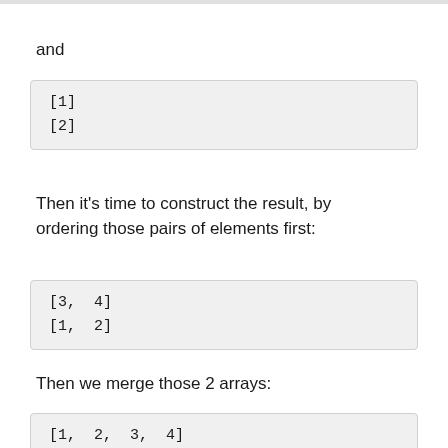and
[1]
[2]
Then it's time to construct the result, by ordering those pairs of elements first:
[3,  4]
[1,  2]
Then we merge those 2 arrays:
[1,  2,  3,  4]